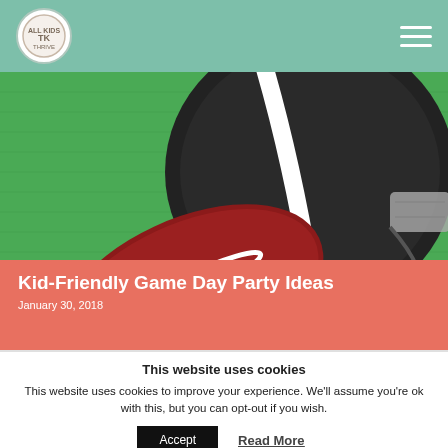All Kids Thrive (logo) | hamburger menu
[Figure (photo): Overhead view of a football and a dark football helmet on a green textured background, illustrating a game day theme.]
Kid-Friendly Game Day Party Ideas
January 30, 2018
This website uses cookies
This website uses cookies to improve your experience. We'll assume you're ok with this, but you can opt-out if you wish.
Accept | Read More